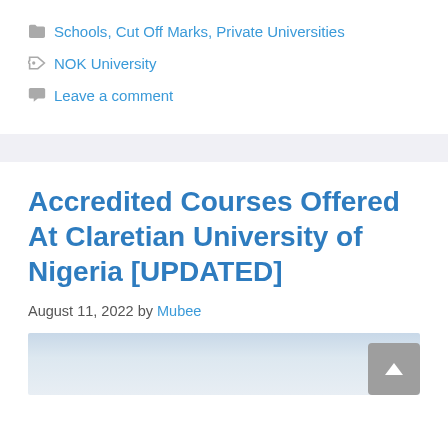Categories: Schools, Cut Off Marks, Private Universities
Tags: NOK University
Leave a comment
Accredited Courses Offered At Claretian University of Nigeria [UPDATED]
August 11, 2022 by Mubee
[Figure (photo): Partial image of Claretian University of Nigeria, showing sky and building tops]